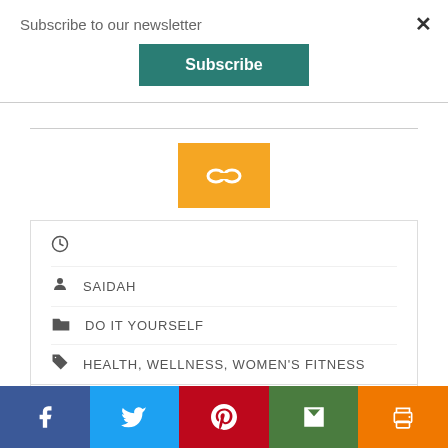Subscribe to our newsletter
Subscribe
[Figure (other): Yellow/orange button with chain link icon]
SAIDAH
DO IT YOURSELF
HEALTH, WELLNESS, WOMEN'S FITNESS
[Figure (infographic): Social share bar with Facebook, Twitter, Pinterest, Email, Print buttons]